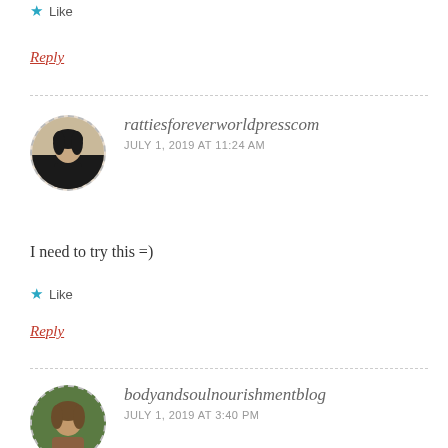★ Like
Reply
rattiesforeverworldpresscom
JULY 1, 2019 AT 11:24 AM
I need to try this =)
★ Like
Reply
bodyandsoulnourishmentblog
JULY 1, 2019 AT 3:40 PM